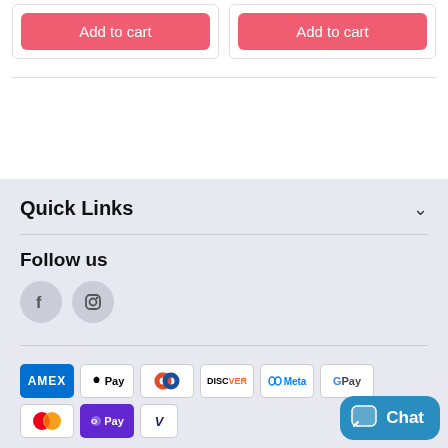[Figure (screenshot): Two product cards each with a pink 'Add to cart' button at the top of the page]
Quick Links
Follow us
[Figure (illustration): Social media icons: Facebook and Instagram circular grey buttons]
[Figure (illustration): Payment method badges: AMEX, Apple Pay, Diners Club, Discover, Meta, Google Pay, Mastercard, OPay, Visa, and a Chat bubble]
[Figure (other): Chat button overlay in bottom right corner]